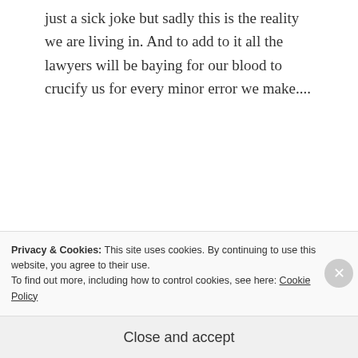just a sick joke but sadly this is the reality we are living in. And to add to it all the lawyers will be baying for our blood to crucify us for every minor error we make....
REPLY
[Figure (illustration): Golden decorative geometric pattern avatar for user drtoobs]
drtoobs
APRIL 5, 2016 AT 11:15 AM
Privacy & Cookies: This site uses cookies. By continuing to use this website, you agree to their use.
To find out more, including how to control cookies, see here: Cookie Policy
Close and accept